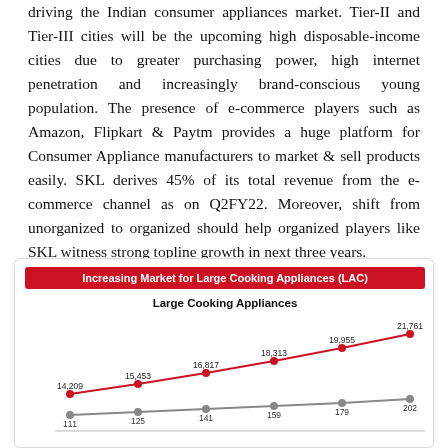driving the Indian consumer appliances market. Tier-II and Tier-III cities will be the upcoming high disposable-income cities due to greater purchasing power, high internet penetration and increasingly brand-conscious young population. The presence of e-commerce players such as Amazon, Flipkart & Paytm provides a huge platform for Consumer Appliance manufacturers to market & sell products easily. SKL derives 45% of its total revenue from the e-commerce channel as on Q2FY22. Moreover, shift from unorganized to organized should help organized players like SKL witness strong topline growth in next three years.
[Figure (line-chart): Increasing Market for Large Cooking Appliances (LAC)]